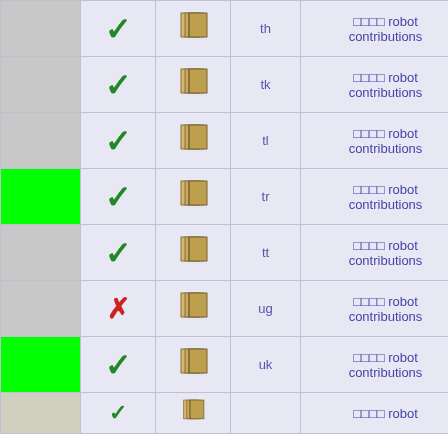| Name | Check | Book | Code | Contributions |
| --- | --- | --- | --- | --- |
|  | ✓ | 📚 | th | □□□□ robot contributions |
|  | ✓ | 📚 | tk | □□□□ robot contributions |
|  | ✓ | 📚 | tl | □□□□ robot contributions |
| GREEN | ✓ | 📚 | tr | □□□□ robot contributions |
|  | ✓ | 📚 | tt | □□□□ robot contributions |
|  | ✗ | 📚 | ug | □□□□ robot contributions |
| GREEN | ✓ | 📚 | uk | □□□□ robot contributions |
| (partial) | ✓ | 📚 |  | □□□□ robot contributions |